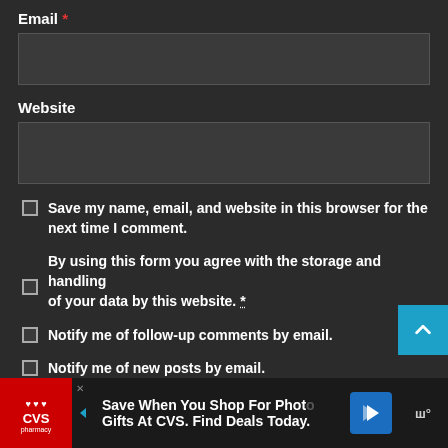Email *
Website
Save my name, email, and website in this browser for the next time I comment.
By using this form you agree with the storage and handling of your data by this website. *
Notify me of follow-up comments by email.
Notify me of new posts by email.
[Figure (screenshot): Advertisement bar: CVS Pharmacy logo with text 'Save When You Shop For Photo Gifts At CVS. Find Deals Today.']